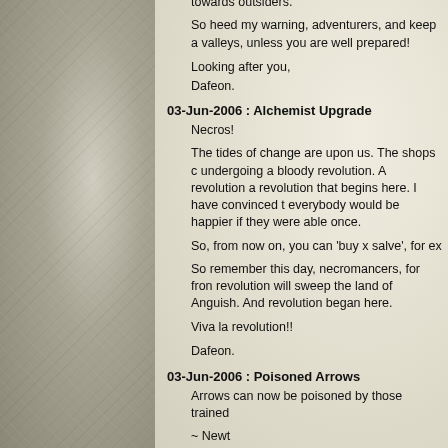towards outsiders.
So heed my warning, adventurers, and keep a valleys, unless you are well prepared!
Looking after you,
Dafeon.
03-Jun-2006 : Alchemist Upgrade
Necros!
The tides of change are upon us. The shops c undergoing a bloody revolution. A revolution a revolution that begins here. I have convinced t everybody would be happier if they were able once.
So, from now on, you can 'buy x salve', for ex
So remember this day, necromancers, for fron revolution will sweep the land of Anguish. And revolution began here.
Viva la revolution!!
Dafeon.
03-Jun-2006 : Poisoned Arrows
Arrows can now be poisoned by those trained
~ Newt
21-May-2006 : Adventures in Horticulture
Good news everyone!